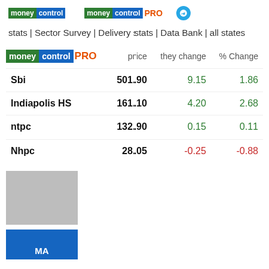moneycontrol PRO [logo] [telegram icon]
stats | Sector Survey | Delivery stats | Data Bank | all states
|  | price | they change | % Change |
| --- | --- | --- | --- |
| Sbi | 501.90 | 9.15 | 1.86 |
| Indiapolis HS | 161.10 | 4.20 | 2.68 |
| ntpc | 132.90 | 0.15 | 0.11 |
| Nhpc | 28.05 | -0.25 | -0.88 |
[Figure (other): Gray placeholder rectangle]
[Figure (other): Blue box with text MA]